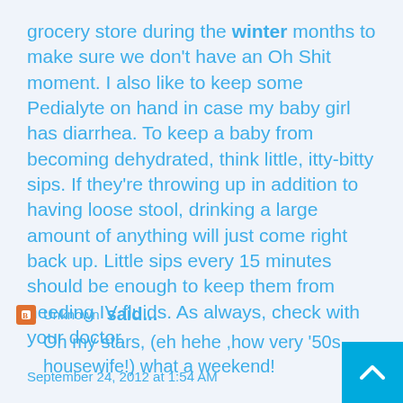grocery store during the winter months to make sure we don't have an Oh Shit moment. I also like to keep some Pedialyte on hand in case my baby girl has diarrhea. To keep a baby from becoming dehydrated, think little, itty-bitty sips. If they're throwing up in addition to having loose stool, drinking a large amount of anything will just come right back up. Little sips every 15 minutes should be enough to keep them from needing IV fluids. As always, check with your doctor.
September 24, 2012 at 1:54 AM
Unknown said...
Oh my stars, (eh hehe ,how very '50s housewife!) what a weekend!